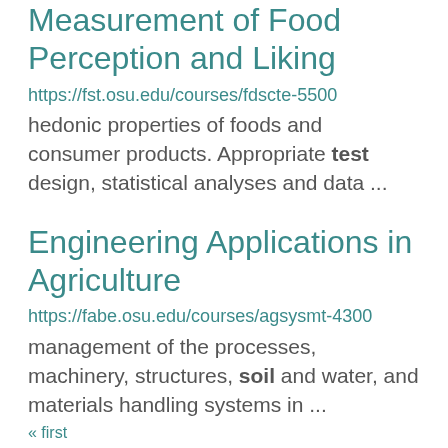Measurement of Food Perception and Liking
https://fst.osu.edu/courses/fdscte-5500
hedonic properties of foods and consumer products. Appropriate test design, statistical analyses and data ...
Engineering Applications in Agriculture
https://fabe.osu.edu/courses/agsysmt-4300
management of the processes, machinery, structures, soil and water, and materials handling systems in ...
« first